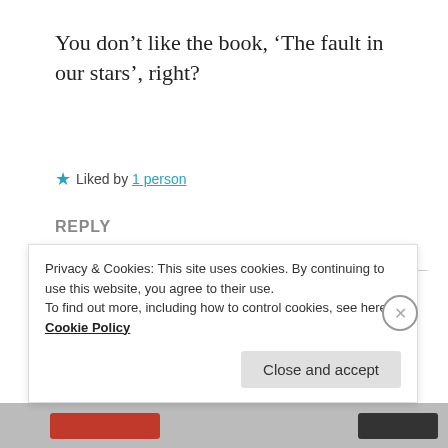You don’t like the book, ‘The fault in our stars’, right?
★ Liked by 1 person
REPLY
[Figure (illustration): Avatar of a cartoon girl with glasses sitting inside a large red apple with a green leaf, waving]
NEHAL JAIN
September 3, 2021 at 1:34 pm
Privacy & Cookies: This site uses cookies. By continuing to use this website, you agree to their use.
To find out more, including how to control cookies, see here: Cookie Policy
Close and accept